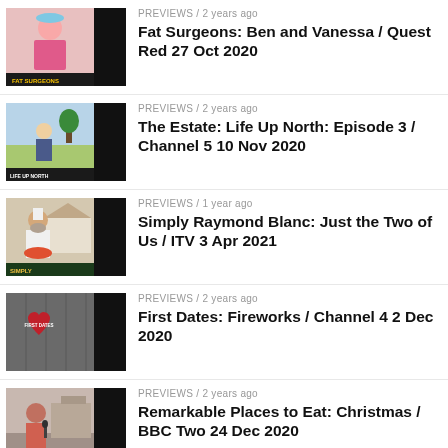PREVIEWS / 2 years ago
Fat Surgeons: Ben and Vanessa / Quest Red 27 Oct 2020
PREVIEWS / 2 years ago
The Estate: Life Up North: Episode 3 / Channel 5 10 Nov 2020
PREVIEWS / 1 year ago
Simply Raymond Blanc: Just the Two of Us / ITV 3 Apr 2021
PREVIEWS / 2 years ago
First Dates: Fireworks / Channel 4 2 Dec 2020
PREVIEWS / 2 years ago
Remarkable Places to Eat: Christmas / BBC Two 24 Dec 2020